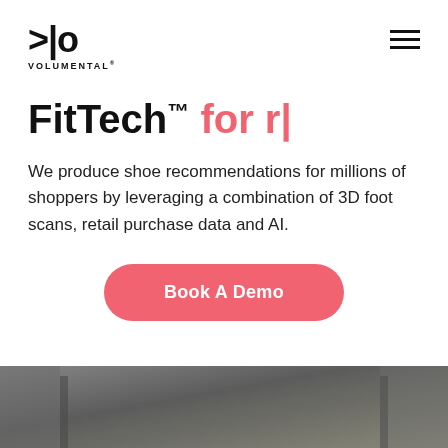>|o VOLUMENTAL®
FitTech™ for r|
We produce shoe recommendations for millions of shoppers by leveraging a combination of 3D foot scans, retail purchase data and AI.
Book A Demo
[Figure (photo): Bottom portion of a dark-toned photo, likely showing a retail or scanner environment]